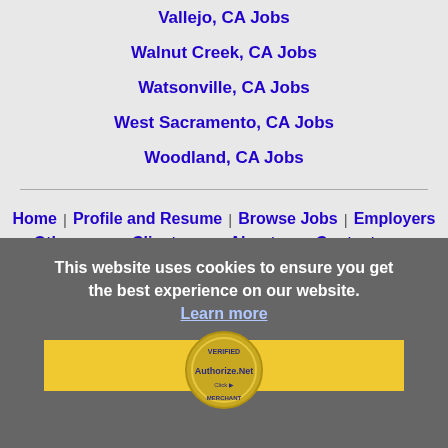Vallejo, CA Jobs
Walnut Creek, CA Jobs
Watsonville, CA Jobs
West Sacramento, CA Jobs
Woodland, CA Jobs
Home | Profile and Resume | Browse Jobs | Employers | Other Cities | Clients List | About Us | Contact Us | Help | Terms of Use | Register / Log In
This website uses cookies to ensure you get the best experience on our website.
Learn more
Got it!
[Figure (logo): Authorize.Net Verified Merchant seal/badge]